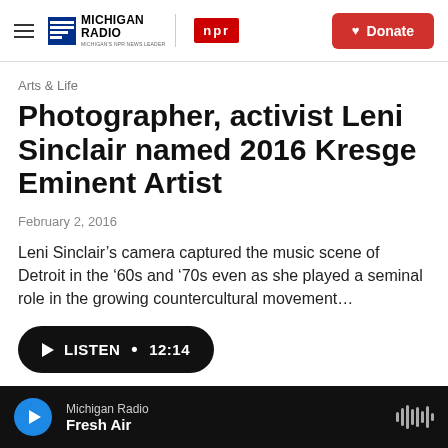Michigan Radio | NPR | Donate
Arts & Life
Photographer, activist Leni Sinclair named 2016 Kresge Eminent Artist
February 2, 2016
Leni Sinclair’s camera captured the music scene of Detroit in the ’60s and ‘70s even as she played a seminal role in the growing countercultural movement…
Michigan Radio | Fresh Air